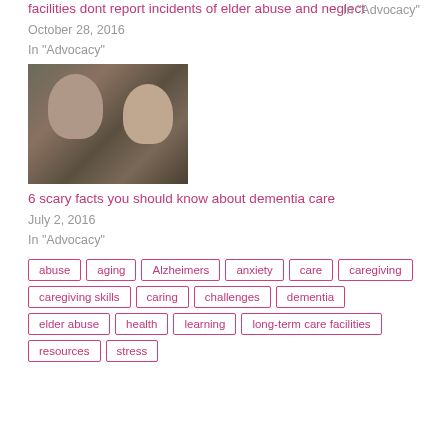facilities dont report incidents of elder abuse and neglect
October 28, 2016
In "Advocacy"
In "Advocacy"
[Figure (photo): Two elderly people in close embrace, one leaning on the other]
6 scary facts you should know about dementia care
July 2, 2016
In "Advocacy"
abuse
aging
Alzheimers
anxiety
care
caregiving
caregiving skills
caring
challenges
dementia
elder abuse
health
learning
long-term care facilities
resources
stress